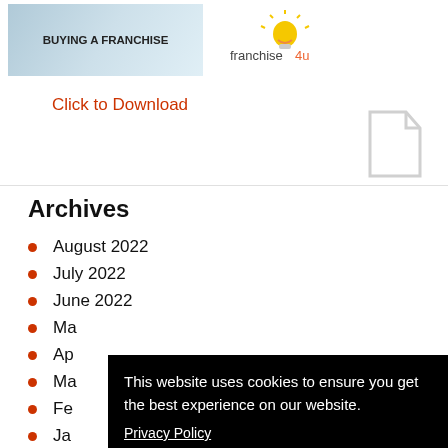[Figure (screenshot): Franchise4u 'Buying a Franchise' guide promotional banner with logo and download link]
Click to Download
Archives
August 2022
July 2022
June 2022
Ma[y 2022]
Ap[ril 2022]
Ma[rch 2022]
Fe[bruary 2022]
Ja[nuary 2022]
De[cember 2021]
No[vember 2021]
October 2021
[Figure (screenshot): Cookie consent overlay: 'This website uses cookies to ensure you get the best experience on our website. Privacy Policy. Accept button.']